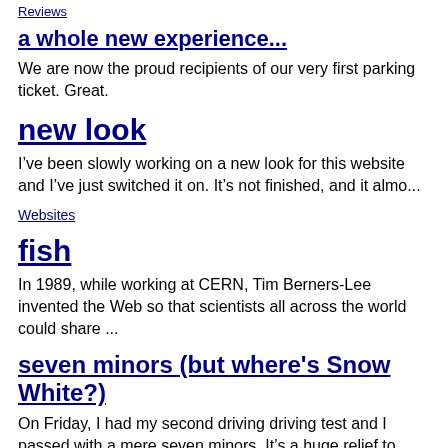Reviews
a whole new experience...
We are now the proud recipients of our very first parking ticket. Great.
new look
I’ve been slowly working on a new look for this website and I’ve just switched it on. It’s not finished, and it almo...
Websites
fish
In 1989, while working at CERN, Tim Berners-Lee invented the Web so that scientists all across the world could share ...
seven minors (but where's Snow White?)
On Friday, I had my second driving driving test and I passed with a mere seven minors. It’s a huge relief to have pa...